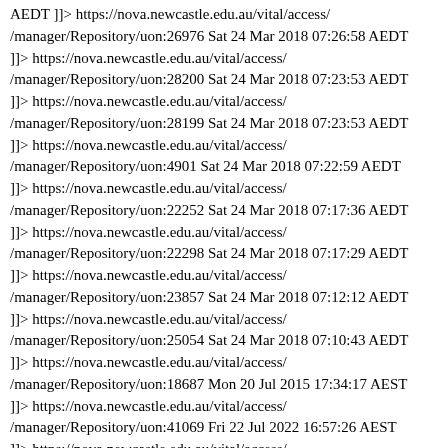AEDT ]]> https://nova.newcastle.edu.au/vital/access//manager/Repository/uon:26976 Sat 24 Mar 2018 07:26:58 AEDT ]]> https://nova.newcastle.edu.au/vital/access//manager/Repository/uon:28200 Sat 24 Mar 2018 07:23:53 AEDT ]]> https://nova.newcastle.edu.au/vital/access//manager/Repository/uon:28199 Sat 24 Mar 2018 07:23:53 AEDT ]]> https://nova.newcastle.edu.au/vital/access//manager/Repository/uon:4901 Sat 24 Mar 2018 07:22:59 AEDT ]]> https://nova.newcastle.edu.au/vital/access//manager/Repository/uon:22252 Sat 24 Mar 2018 07:17:36 AEDT ]]> https://nova.newcastle.edu.au/vital/access//manager/Repository/uon:22298 Sat 24 Mar 2018 07:17:29 AEDT ]]> https://nova.newcastle.edu.au/vital/access//manager/Repository/uon:23857 Sat 24 Mar 2018 07:12:12 AEDT ]]> https://nova.newcastle.edu.au/vital/access//manager/Repository/uon:25054 Sat 24 Mar 2018 07:10:43 AEDT ]]> https://nova.newcastle.edu.au/vital/access//manager/Repository/uon:18687 Mon 20 Jul 2015 17:34:17 AEST ]]> https://nova.newcastle.edu.au/vital/access//manager/Repository/uon:41069 Fri 22 Jul 2022 16:57:26 AEST ]]> https://nova.newcastle.edu.au/vital/access//manager/Repository/uon:40570 1.00 and inspection of a loading plot. Items with loadings ≥0.40 were considered satisfactory for inclusion in a factor. Results: All cervical sensorimotor control tests were found to measure unique skills. Four factors were isolated with two, postural balance and head steadiness, accounting